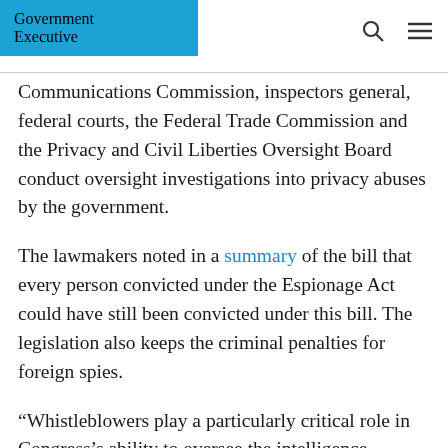Government Executive
Communications Commission, inspectors general, federal courts, the Federal Trade Commission and the Privacy and Civil Liberties Oversight Board conduct oversight investigations into privacy abuses by the government.
The lawmakers noted in a summary of the bill that every person convicted under the Espionage Act could have still been convicted under this bill. The legislation also keeps the criminal penalties for foreign spies.
“Whistleblowers play a particularly critical role in Congress’s ability to oversee the intelligence community,” wrote the attorneys who represented the intelligence community whistleblower—whose complaint sparked the impeachment probe against President Trump—in The New York Times on Sunday. “Rather than weakening the system